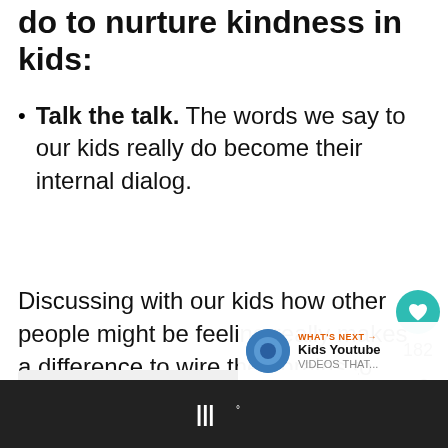do to nurture kindness in kids:
Talk the talk. The words we say to our kids really do become their internal dialog.
Discussing with our kids how other people might be feeling really makes a difference to wire their brains to consider others' feelings.
[Figure (screenshot): Gray box placeholder at bottom left, right-side UI with heart icon (182 likes) and share button, What's Next overlay showing Kids Youtube, dark bottom bar with logo]
WHAT'S NEXT → Kids Youtube VIDEOS THAT... |||°